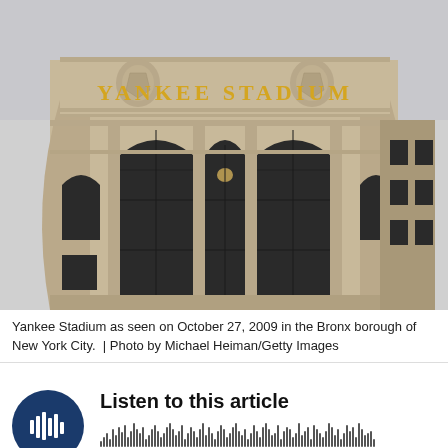[Figure (photo): Exterior facade of Yankee Stadium showing the large stone building with arched windows and 'YANKEE STADIUM' lettering in gold, photographed on October 27, 2009 in the Bronx borough of New York City.]
Yankee Stadium as seen on October 27, 2009 in the Bronx borough of New York City.  | Photo by Michael Heiman/Getty Images
[Figure (other): Audio player widget with a dark blue circular play button showing a waveform/equalizer icon, the text 'Listen to this article', and an audio waveform visualization below.]